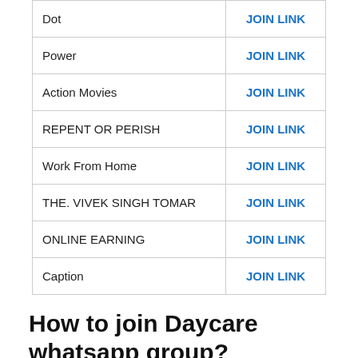| Group Name | Link |
| --- | --- |
| Dot | JOIN LINK |
| Power | JOIN LINK |
| Action Movies | JOIN LINK |
| REPENT OR PERISH | JOIN LINK |
| Work From Home | JOIN LINK |
| THE. VIVEK SINGH TOMAR | JOIN LINK |
| ONLINE EARNING | JOIN LINK |
| Caption | JOIN LINK |
How to join Daycare whatsapp group?